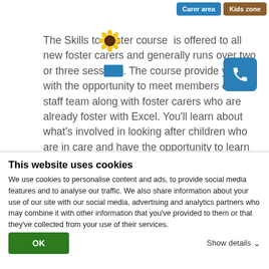Carer area | Kids zone
The Skills to Foster course is offered to all new foster carers and generally runs over two or three sessions. The course provide you with the opportunity to meet members of our staff team along with foster carers who are already foster with Excel. You'll learn about what's involved in looking after children who are in care and have the opportunity to learn with others who are making an application to become a foster carer.
The Skills to Foster course covers the following areas:
What foster carers do
This website uses cookies
We use cookies to personalise content and ads, to provide social media features and to analyse our traffic. We also share information about your use of our site with our social media, advertising and analytics partners who may combine it with other information that you've provided to them or that they've collected from your use of their services.
OK
Show details